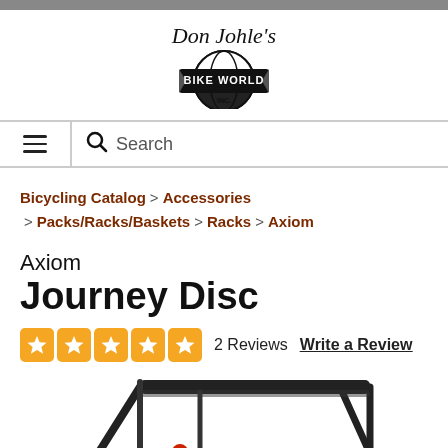[Figure (logo): Don Johle's Bike World Inc. logo with cursive text above a circular globe-style badge with a banner reading BIKE WORLD INC.]
≡  🔍 Search
Bicycling Catalog > Accessories > Packs/Racks/Baskets > Racks > Axiom
Axiom Journey Disc
★★★★★ 2 Reviews   Write a Review
[Figure (photo): Partial photo of the Axiom Journey Disc bicycle rear rack, black metal frame with red accent, showing the rack platform and supporting struts]